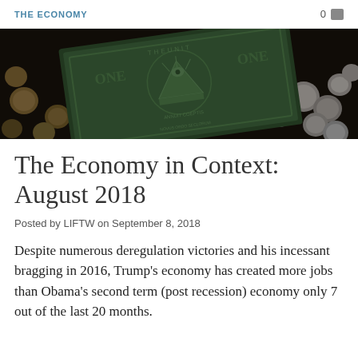THE ECONOMY
[Figure (photo): Close-up photo of US dollar bill and coins on a dark background]
The Economy in Context: August 2018
Posted by LIFTW on September 8, 2018
Despite numerous deregulation victories and his incessant bragging in 2016, Trump's economy has created more jobs than Obama's second term (post recession) economy only 7 out of the last 20 months.